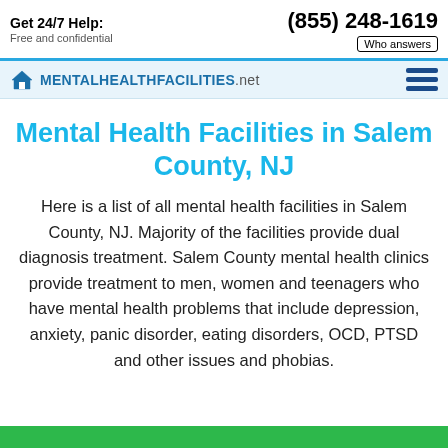Get 24/7 Help: Free and confidential | (855) 248-1619 | Who answers
[Figure (logo): MentalHealthFacilities.net logo with house icon and hamburger menu]
Mental Health Facilities in Salem County, NJ
Here is a list of all mental health facilities in Salem County, NJ. Majority of the facilities provide dual diagnosis treatment. Salem County mental health clinics provide treatment to men, women and teenagers who have mental health problems that include depression, anxiety, panic disorder, eating disorders, OCD, PTSD and other issues and phobias.